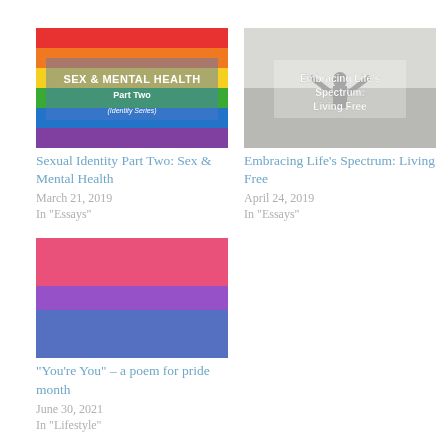[Figure (illustration): Rainbow pride flag with text overlay: SEX & MENTAL HEALTH Part Two (Identity Series)]
Sexual Identity Part Two: Sex & Mental Health
March 21, 2019
In "Essays"
[Figure (photo): Person with arms raised against bright background with text overlay: Embracing Life's Spectrum: Living Free]
Embracing Life's Spectrum: Living Free
April 24, 2019
In "Essays"
[Figure (illustration): Bisexual pride flag with pink, purple and blue horizontal stripes]
"You're You" – a poem for pride month
June 30, 2021
In "Lifestyle"